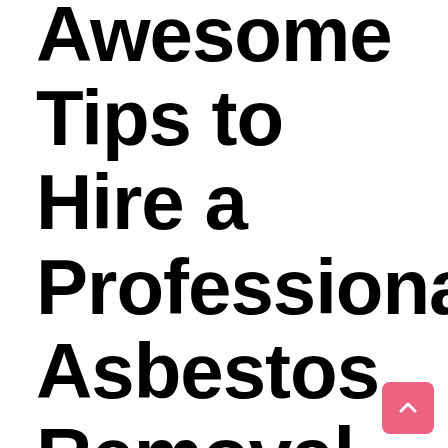Awesome Tips to Hire a Professional Asbestos Removal Company